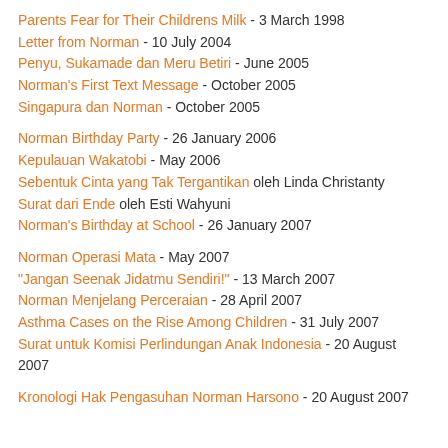Parents Fear for Their Childrens Milk - 3 March 1998
Letter from Norman - 10 July 2004
Penyu, Sukamade dan Meru Betiri - June 2005
Norman's First Text Message - October 2005
Singapura dan Norman - October 2005
Norman Birthday Party - 26 January 2006
Kepulauan Wakatobi - May 2006
Sebentuk Cinta yang Tak Tergantikan oleh Linda Christanty
Surat dari Ende oleh Esti Wahyuni
Norman's Birthday at School - 26 January 2007
Norman Operasi Mata - May 2007
"Jangan Seenak Jidatmu Sendiri!" - 13 March 2007
Norman Menjelang Perceraian - 28 April 2007
Asthma Cases on the Rise Among Children - 31 July 2007
Surat untuk Komisi Perlindungan Anak Indonesia - 20 August 2007
Kronologi Hak Pengasuhan Norman Harsono - 20 August 2007